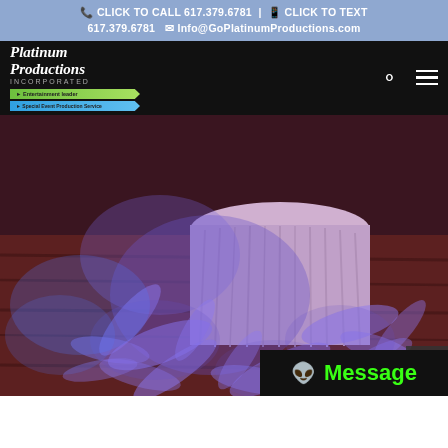CLICK TO CALL 617.379.6781 | CLICK TO TEXT 617.379.6781  Info@GoPlatinumProductions.com
[Figure (screenshot): Platinum Productions Incorporated logo with green and blue banner badges on black navigation bar with search and hamburger menu icons]
[Figure (photo): Event hall with purple/blue gobo lights projecting floral leaf patterns onto a dark wood dance floor, draped table in background]
Message